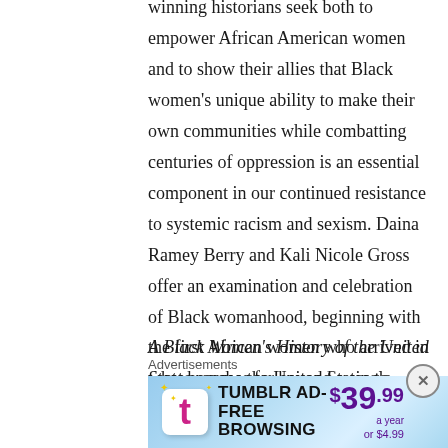winning historians seek both to empower African American women and to show their allies that Black women's unique ability to make their own communities while combatting centuries of oppression is an essential component in our continued resistance to systemic racism and sexism. Daina Ramey Berry and Kali Nicole Gross offer an examination and celebration of Black womanhood, beginning with the first African women who arrived in what became the United States to African American women of today.
A Black Women's History of the United States reaches far beyond a single narrative to showcase Black
Advertisements
[Figure (other): Tumblr Ad-Free Browsing advertisement banner. Shows Tumblr logo with price $39.99 a year or $4.99.]